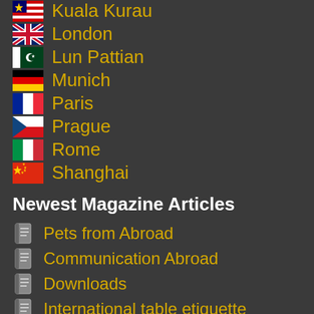Kuala Kurau
London
Lun Pattian
Munich
Paris
Prague
Rome
Shanghai
Newest Magazine Articles
Pets from Abroad
Communication Abroad
Downloads
International table etiquette
World GSM Frequencies
Travelling with Pets
Country Telephone Prefix
Natural Healing